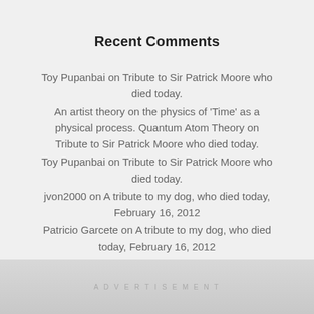Recent Comments
Toy Pupanbai on Tribute to Sir Patrick Moore who died today.
An artist theory on the physics of 'Time' as a physical process. Quantum Atom Theory on Tribute to Sir Patrick Moore who died today.
Toy Pupanbai on Tribute to Sir Patrick Moore who died today.
jvon2000 on A tribute to my dog, who died today, February 16, 2012
Patricio Garcete on A tribute to my dog, who died today, February 16, 2012
ADVERTISEMENT